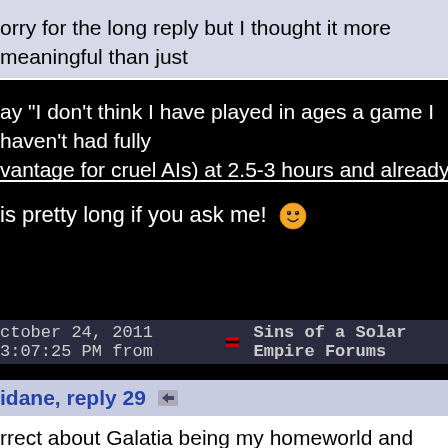orry for the long reply but I thought it more meaningful than just nd it doesn't take hours and can be done reliably on random ma
ay "I don't think I have played in ages a game I haven't had fully vantage for cruel AIs) at 2.5-3 hours and already crumpled at le
is pretty long if you ask me! 😊
ctober 24, 2011 3:07:25 PM from  Sins of a Solar Empire Forums
idane, reply 29
rrect about Galatia being my homeworld and also correct that C tegy is to quickly determine who and where your neighbors are, ansion. Makes sense. And if holding them back proves unsucces